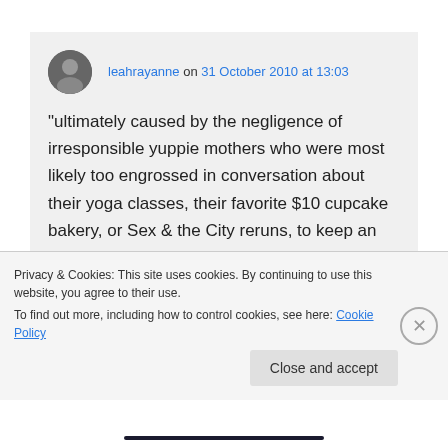leahrayanne on 31 October 2010 at 13:03
"ultimately caused by the negligence of irresponsible yuppie mothers who were most likely too engrossed in conversation about their yoga classes, their favorite $10 cupcake bakery, or Sex & the City reruns, to keep an eye on their kids while they ran amok."
Privacy & Cookies: This site uses cookies. By continuing to use this website, you agree to their use.
To find out more, including how to control cookies, see here: Cookie Policy
Close and accept